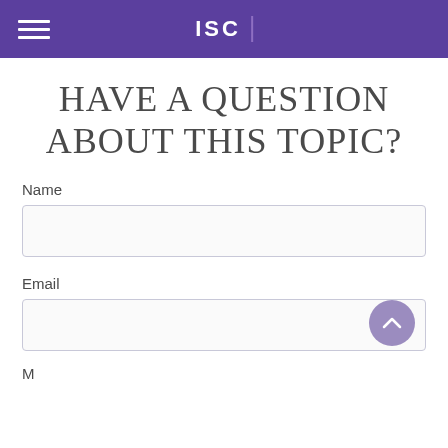ISC
HAVE A QUESTION ABOUT THIS TOPIC?
Name
Email
M